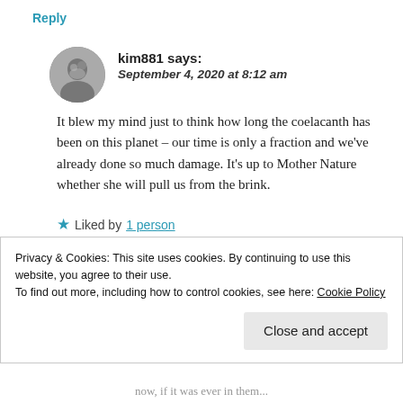Reply
[Figure (photo): Circular grayscale avatar photo of a person]
kim881 says:
September 4, 2020 at 8:12 am
It blew my mind just to think how long the coelacanth has been on this planet – our time is only a fraction and we've already done so much damage. It's up to Mother Nature whether she will pull us from the brink.
★ Liked by 1 person
Reply
Privacy & Cookies: This site uses cookies. By continuing to use this website, you agree to their use.
To find out more, including how to control cookies, see here: Cookie Policy
Close and accept
now, if it was ever in them...